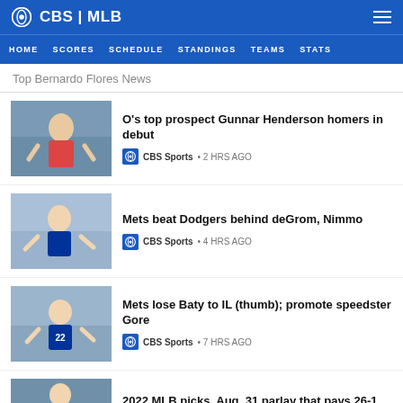CBS | MLB
HOME  SCORES  SCHEDULE  STANDINGS  TEAMS  STATS
Top Bernardo Flores News
O's top prospect Gunnar Henderson homers in debut
CBS Sports • 2 HRS AGO
Mets beat Dodgers behind deGrom, Nimmo
CBS Sports • 4 HRS AGO
Mets lose Baty to IL (thumb); promote speedster Gore
CBS Sports • 7 HRS AGO
2022 MLB picks, Aug. 31 parlay that pays 26-1